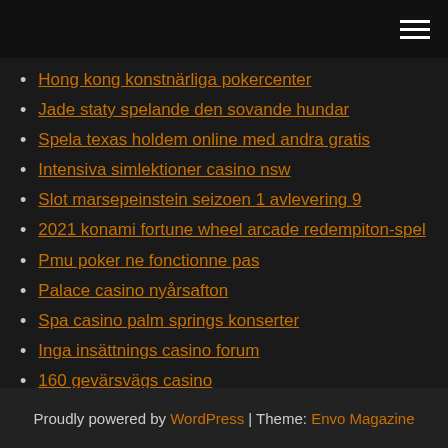[hamburger menu icon]
Hong kong konstnärliga pokercenter
Jade staty spelande den sovande hundar
Spela texas holdem online med andra gratis
Intensiva simlektioner casino nsw
Slot marsepeinstein seizoen 1 avlevering 9
2021 konami fortune wheel arcade redempiton-spel
Pmu poker ne fonctionne pas
Palace casino nyårsafton
Spa casino palm springs konserter
Inga insättnings casino forum
160 gevärsvägs casino
Proudly powered by WordPress | Theme: Envo Magazine